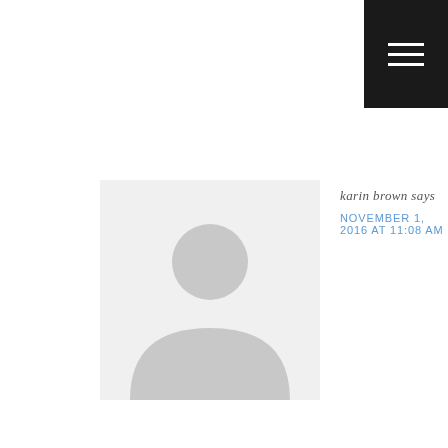[Figure (other): Hamburger menu icon — three horizontal white lines on a dark/black square background, positioned top-right corner]
[Figure (other): Default user avatar placeholder image — light grey silhouette of a person on a white/light grey background]
karin brown says
NOVEMBER 1, 2016 AT 11:08 AM
“I can knit that” would be a great way for me to learn more about knitted garnements. Love learning new skills.
Reply